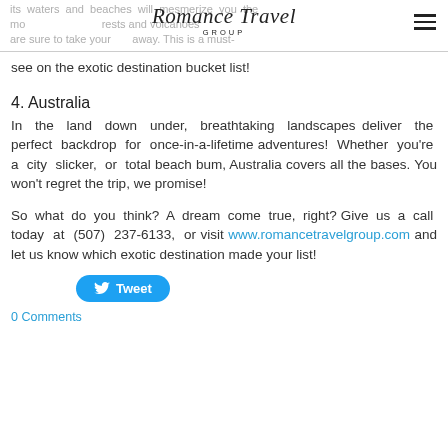Romance Travel Group
its waters and beaches will mesmerize you the most. Enjoying it all, its forests and volcanoes are sure to take your breath away. This is a must-see on the exotic destination bucket list!
4. Australia
In the land down under, breathtaking landscapes deliver the perfect backdrop for once-in-a-lifetime adventures! Whether you’re a city slicker, or total beach bum, Australia covers all the bases. You won’t regret the trip, we promise!
So what do you think? A dream come true, right? Give us a call today at (507) 237-6133, or visit www.romancetravelgroup.com and let us know which exotic destination made your list!
[Figure (other): Tweet button with Twitter bird icon]
0 Comments